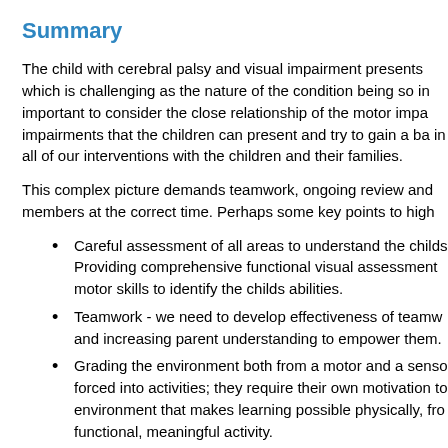Summary
The child with cerebral palsy and visual impairment presents which is challenging as the nature of the condition being so in important to consider the close relationship of the motor impa impairments that the children can present and try to gain a ba in all of our interventions with the children and their families.
This complex picture demands teamwork, ongoing review and members at the correct time. Perhaps some key points to high
Careful assessment of all areas to understand the childs Providing comprehensive functional visual assessment motor skills to identify the childs abilities.
Teamwork - we need to develop effectiveness of teamw and increasing parent understanding to empower them.
Grading the environment both from a motor and a senso forced into activities; they require their own motivation to environment that makes learning possible physically, fro functional, meaningful activity.
Parallel processing - for many children with cerebral pal two or more sensory modalities; identifying whether the touch or sound and vision or vision and proprioception o our skills in this area in order to identify the childs thres intervention just around/below his threshold in order to p